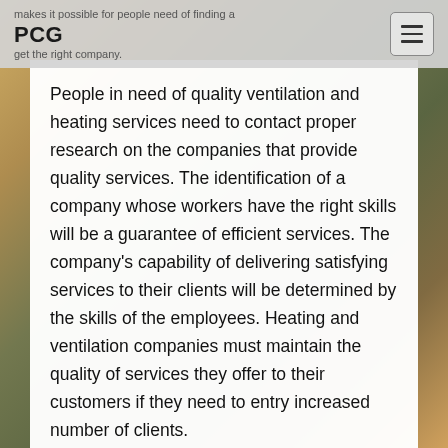PCG
People in need of quality ventilation and heating services need to contact proper research on the companies that provide quality services. The identification of a company whose workers have the right skills will be a guarantee of efficient services. The company's capability of delivering satisfying services to their clients will be determined by the skills of the employees. Heating and ventilation companies must maintain the quality of services they offer to their customers if they need to entry increased number of clients.
A homeowner should identify a company that has the right equipment for the ventilation and heating